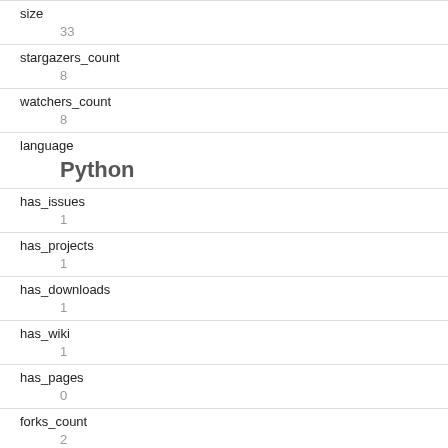| field | value |
| --- | --- |
| size | 33 |
| stargazers_count | 8 |
| watchers_count | 8 |
| language | Python |
| has_issues | 1 |
| has_projects | 1 |
| has_downloads | 1 |
| has_wiki | 1 |
| has_pages | 0 |
| forks_count | 2 |